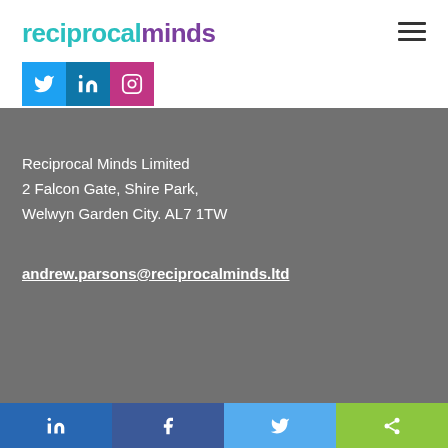reciprocal minds
[Figure (logo): Social media icons: Twitter (blue), LinkedIn (dark blue), Instagram (pink/magenta)]
Reciprocal Minds Limited
2 Falcon Gate, Shire Park,
Welwyn Garden City. AL7 1TW
andrew.parsons@reciprocalminds.ltd
LinkedIn | Facebook | Twitter | Share